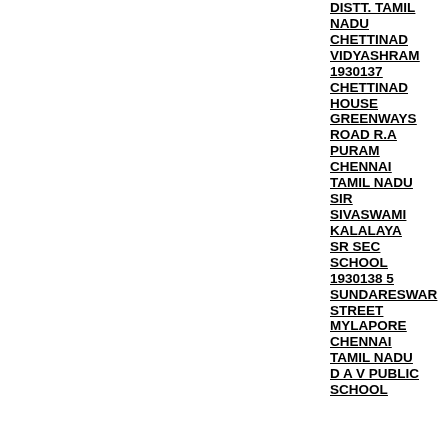DISTT. TAMIL NADU CHETTINAD VIDYASHRAM 1930137 CHETTINAD HOUSE GREENWAYS ROAD R.A PURAM CHENNAI TAMIL NADU SIR SIVASWAMI KALALAYA SR SEC SCHOOL 1930138 5 SUNDARESWAR STREET MYLAPORE CHENNAI TAMIL NADU D A V PUBLIC SCHOOL